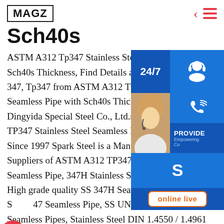MAGZ
Sch40s
ASTM A312 Tp347 Stainless Steel Seamless Pipe with Sch40s Thickness, Find Details about 347, Tp347 from ASTM A312 Tp347 Stainless Steel Seamless Pipe with Sch40s Thickness - Dingyida Special Steel Co., Ltd.sp.inf TP347 Stainless Steel Seamless Pipe/ Since 1997 Spark Steel is a Manufacturer & Suppliers of ASTM A312 TP347 Stainless Steel Seamless Pipe, 347H Stainless Steel Seamless Pipe. High grade quality SS 347H Seamless Pipe, Stainless Steel 347 Seamless Pipe, SS UNS S34700 / S34709 Seamless Pipes, Stainless Steel DIN 1.4550 / 1.4961
[Figure (infographic): Customer service overlay panel with 24/7 label, headset icon, phone icon, Skype icon, PROVIDE / Empowering Customers text, and orange online live button]